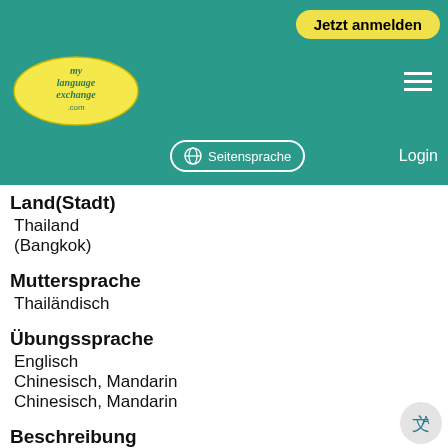Jetzt anmelden | Seitensprache | Login
[Figure (logo): MyLanguageExchange.com logo — yellow oval with cursive text]
Land(Stadt)
Thailand
(Bangkok)
Muttersprache
Thailändisch
Übungssprache
Englisch
Chinesisch, Mandarin
Chinesisch, Mandarin
Beschreibung
Hello you can call me Sally. *need someone for talking in English by conversation I live in Bangkok ,Thailand. I would like to pratice /improve my English and looking for someone to talk in English with me as a good friend , and I have just begin to learn